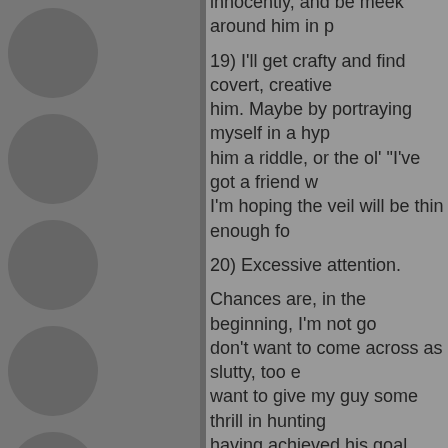innocently, and be meek around him in p
19) I'll get crafty and find covert, creative ways to approach him. Maybe by portraying myself in a hyp... him a riddle, or the ol' "I've got a friend w... I'm hoping the veil will be thin enough fo...
20) Excessive attention.
Chances are, in the beginning, I'm not go... don't want to come across as slutty, too e... want to give my guy some thrill in hunting... having achieved his goal.
If he's intellectual, cultured, a total geek, ... his own skin, healthy, animated, full of pe... undoubtedly passionate about his life, ec... got me from the get-go!
Confidence is key! Be yourself even th... you are trying to impress someone. Look... shows that you aren't another scared lil t... him. It shows you can keep up, which ca... guys who are usually used to girls who a... when they talk. See, this sometimes rai...